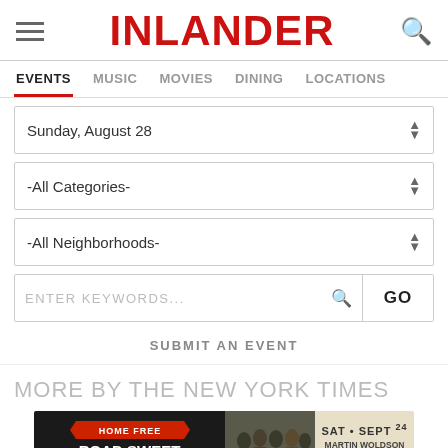INLANDER
EVENTS  MUSIC  MOVIES  DINING  LOCATIONS
Sunday, August 28
-All Categories-
-All Neighborhoods-
ENTER KEYWORDS...  GO
SUBMIT AN EVENT
MORE BY THE NEW YORK TIMES
[Figure (photo): Advertisement banner for Home Free Road Sweet Road concert, SAT SEPT 24, Martin Woldson Theater at the Fox]